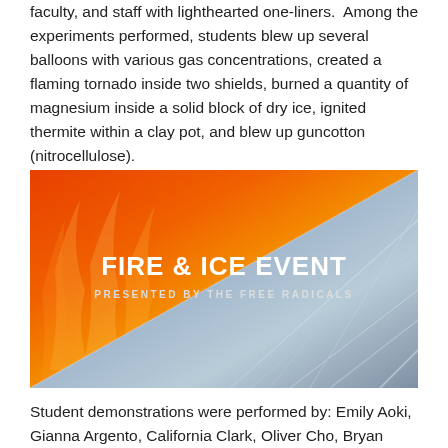faculty, and staff with lighthearted one-liners.  Among the experiments performed, students blew up several balloons with various gas concentrations, created a flaming tornado inside two shields, burned a quantity of magnesium inside a solid block of dry ice, ignited thermite within a clay pot, and blew up guncotton (nitrocellulose).
[Figure (photo): Fire and Ice Event promotional image: left half shows orange-yellow flames, right half shows blue-grey ice crystals, with white text reading 'FIRE & ICE EVENT' and subtitle 'PRESENTED BY THE FREE RADICALS']
Student demonstrations were performed by: Emily Aoki, Gianna Argento, California Clark, Oliver Cho, Bryan Guarin,